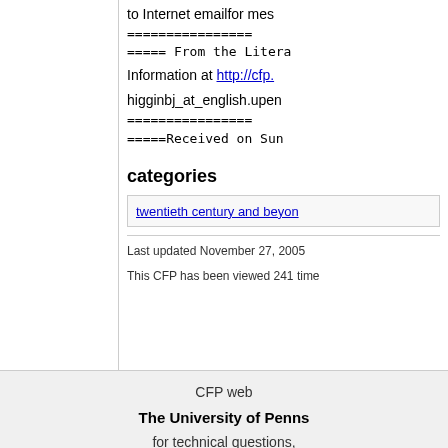to Internet emailfor mes
================
===== From the Litera
Information at http://cfp. higginbj_at_english.upen
================
=====Received on Sun
categories
twentieth century and beyon
Last updated November 27, 2005
This CFP has been viewed 241 time
CFP web The University of Penns for technical questions,